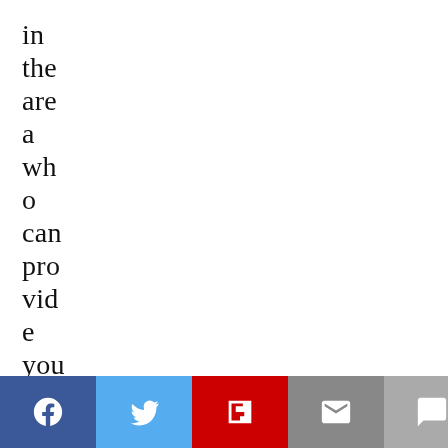in the are a who can provide you with adequate
[Figure (other): Social sharing bar with Facebook, Twitter, Flipboard, Email, and Comment buttons]